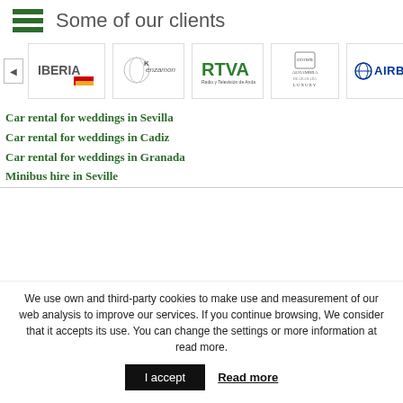Some of our clients
[Figure (logo): Client logos carousel: Iberia, Kenzamon, RTVA, Alhambra Luxury, Airbus]
Car rental for weddings in Sevilla
Car rental for weddings in Cadiz
Car rental for weddings in Granada
Minibus hire in Seville
We use own and third-party cookies to make use and measurement of our web analysis to improve our services. If you continue browsing, We consider that it accepts its use. You can change the settings or more information at read more.